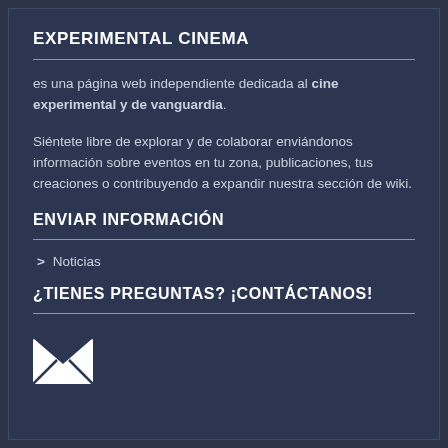EXPERIMENTAL CINEMA
es una página web independiente dedicada al cine experimental y de vanguardia.
Siéntete libre de explorar y de colaborar enviándonos información sobre eventos en tu zona, publicaciones, tus creaciones o contribuyendo a expandir nuestra sección de wiki.
ENVIAR INFORMACIÓN
> Noticias
¿TIENES PREGUNTAS? ¡CONTÁCTANOS!
[Figure (illustration): Envelope/mail icon (white) indicating contact by email]